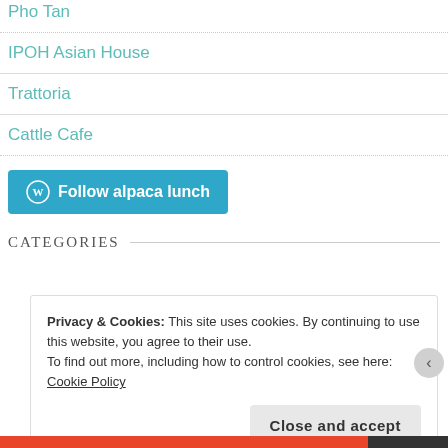Pho Tan
IPOH Asian House
Trattoria
Cattle Cafe
[Figure (other): WordPress Follow button: 'Follow alpaca lunch' with WordPress logo icon on teal/blue background]
CATEGORIES
Privacy & Cookies: This site uses cookies. By continuing to use this website, you agree to their use.
To find out more, including how to control cookies, see here: Cookie Policy
Close and accept